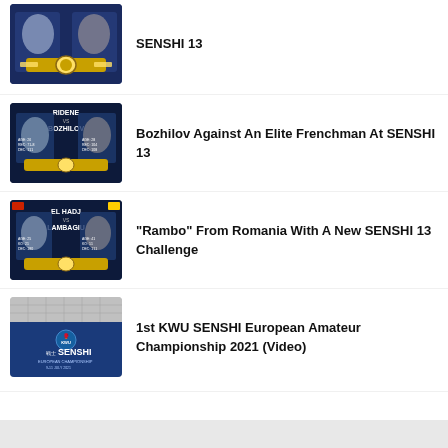[Figure (photo): Boxing championship belt photo with SENSHI 13 branding]
SENSHI 13
[Figure (photo): Fighter matchup graphic: RIDENE vs BOZHILOV with championship belt]
Bozhilov Against An Elite Frenchman At SENSHI 13
[Figure (photo): Fighter matchup graphic: EL HADJ vs LAMBAGIU with championship belt]
"Rambo" From Romania With A New SENSHI 13 Challenge
[Figure (photo): 1st KWU SENSHI European Championship 2021 logo on dark blue background]
1st KWU SENSHI European Amateur Championship 2021 (Video)